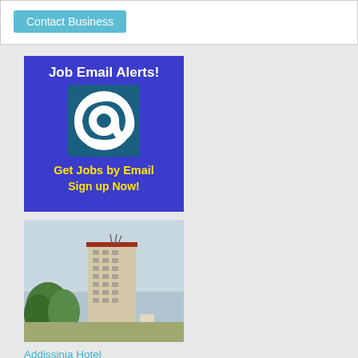Contact Business
[Figure (illustration): Job Email Alerts! advertisement banner with blue background, @ symbol, and text: Get Jobs by Email Sign up Now!]
[Figure (photo): Photo of Addissinia Hotel building in Addis Ababa — a tall multi-storey building with trees in the foreground against a clear sky]
Addissinia Hotel
Addissinia Hotel is located in the heart of Addis Ababa. The Hotel is centrally located: 8 minutes away from the airport, 10 minutes away